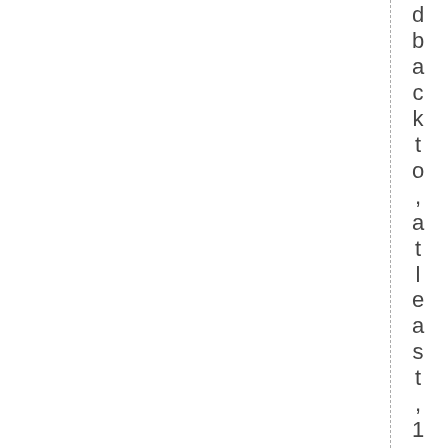d b a c k t o , a t l e a s t , 1 6 9 0 , w h e n .